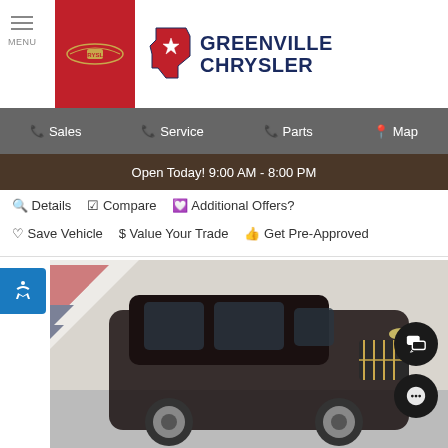[Figure (logo): Greenville Chrysler dealership header with Chrysler logo (red background with winged emblem) and Texas state outline logo with star, brand name GREENVILLE CHRYSLER in navy blue bold text]
Sales | Service | Parts | Map
Open Today! 9:00 AM - 8:00 PM
Details  Compare  Additional Offers?
Save Vehicle  $ Value Your Trade  Get Pre-Approved
[Figure (photo): Dark colored Jeep Cherokee SUV parked in dealership showroom with red white and blue decorative flag stripes in upper left background, checkered floor visible, vehicle faces right]